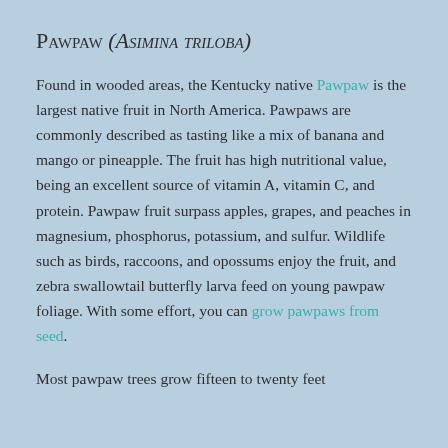Pawpaw (Asimina triloba)
Found in wooded areas, the Kentucky native Pawpaw is the largest native fruit in North America. Pawpaws are commonly described as tasting like a mix of banana and mango or pineapple. The fruit has high nutritional value, being an excellent source of vitamin A, vitamin C, and protein. Pawpaw fruit surpass apples, grapes, and peaches in magnesium, phosphorus, potassium, and sulfur. Wildlife such as birds, raccoons, and opossums enjoy the fruit, and zebra swallowtail butterfly larva feed on young pawpaw foliage. With some effort, you can grow pawpaws from seed.
Most pawpaw trees grow fifteen to twenty feet